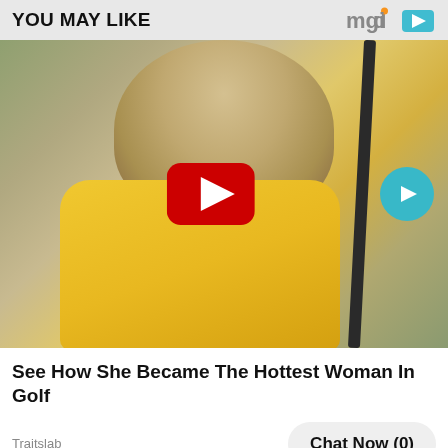YOU MAY LIKE
[Figure (photo): Woman in yellow polo shirt holding a golf club, leaning over, with YouTube play button overlay and teal circular arrow button. Background shows blurred outdoor golf course setting.]
See How She Became The Hottest Woman In Golf
Traitslab
Chat Now (0)